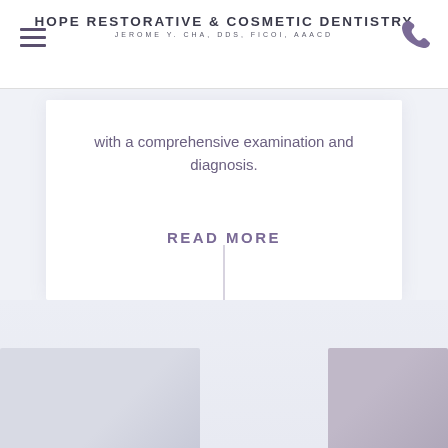HOPE RESTORATIVE & COSMETIC DENTISTRY
JEROME Y. CHA, DDS, FICOI, AAACD
with a comprehensive examination and diagnosis.
READ MORE
[Figure (photo): Bottom section with two partial photos visible at the bottom of the page, light lavender/grey background]